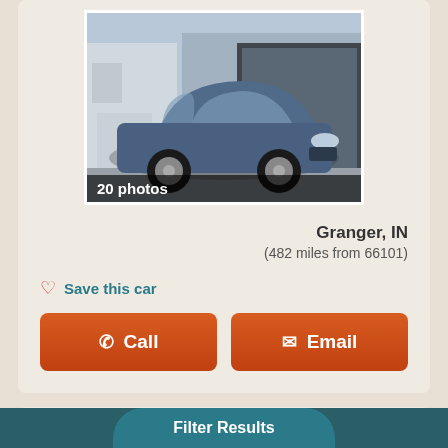[Figure (photo): Blue Ford Edge SUV parked outside a dealership, front 3/4 view]
20 photos
Granger, IN
(482 miles from 66101)
Save this car
Call
Email
2017 Kia Forte EX
Mileage: 95,978  $15,895 ($200/mo est.)
Filter Results